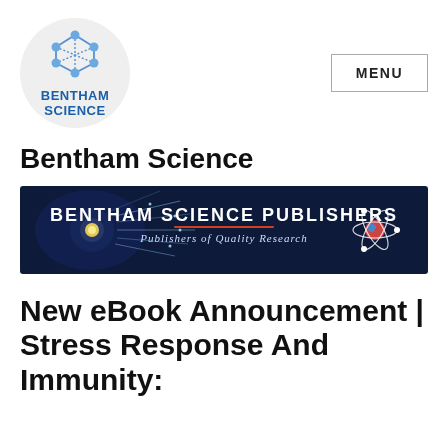[Figure (logo): Bentham Science logo: molecular structure icon in a light grey circle with blue text BENTHAM SCIENCE below it]
MENU
Bentham Science
[Figure (illustration): Bentham Science Publishers banner: dark blue background with brain/neural network image on left, atom model on right, text BENTHAM SCIENCE PUBLISHERS Publishers of Quality Research]
New eBook Announcement | Stress Response And Immunity: